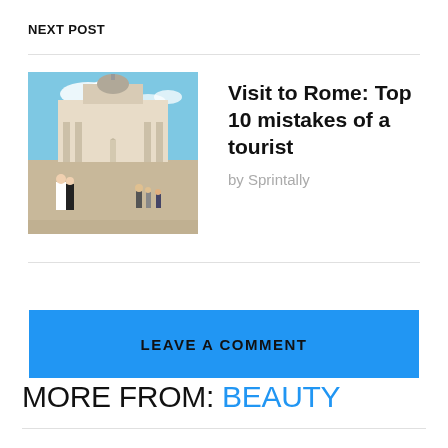NEXT POST
[Figure (photo): Thumbnail photo of St. Peter's Square in Rome with people in foreground]
Visit to Rome: Top 10 mistakes of a tourist
by Sprintally
LEAVE A COMMENT
MORE FROM: BEAUTY